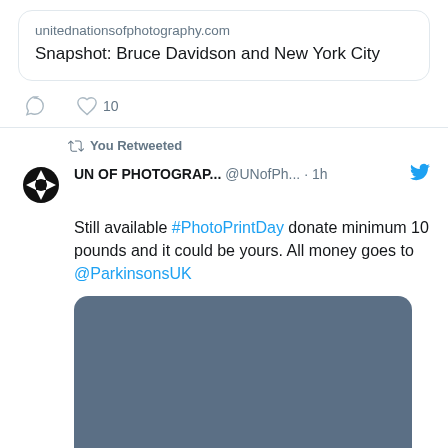unitednationsofphotography.com
Snapshot: Bruce Davidson and New York City
10 (likes)
You Retweeted
UN OF PHOTOGRAP... @UNofPh... · 1h
Still available #PhotoPrintDay donate minimum 10 pounds and it could be yours. All money goes to @ParkinsonsUK
[Figure (photo): Placeholder image rectangle with dark blue-grey color]